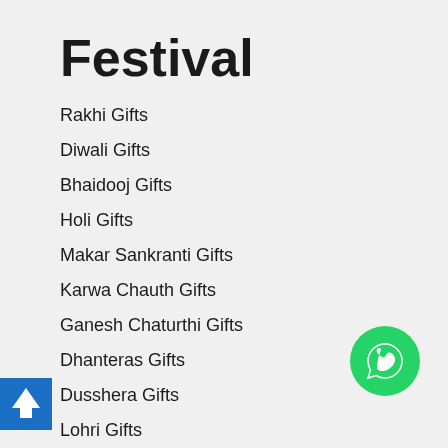Festival
Rakhi Gifts
Diwali Gifts
Bhaidooj Gifts
Holi Gifts
Makar Sankranti Gifts
Karwa Chauth Gifts
Ganesh Chaturthi Gifts
Dhanteras Gifts
Dusshera Gifts
Lohri Gifts
City
Gifts to Ahmedabad
Gifts to Bangalore
Gifts to Mumbai